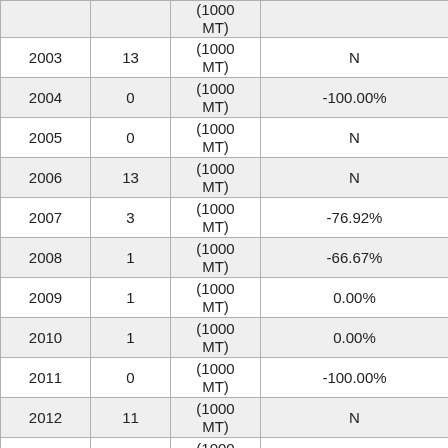| Year | Value | Unit | % Change |
| --- | --- | --- | --- |
|  |  | (1000 MT) |  |
| 2003 | 13 | (1000 MT) | N |
| 2004 | 0 | (1000 MT) | -100.00% |
| 2005 | 0 | (1000 MT) | N |
| 2006 | 13 | (1000 MT) | N |
| 2007 | 3 | (1000 MT) | -76.92% |
| 2008 | 1 | (1000 MT) | -66.67% |
| 2009 | 1 | (1000 MT) | 0.00% |
| 2010 | 1 | (1000 MT) | 0.00% |
| 2011 | 0 | (1000 MT) | -100.00% |
| 2012 | 11 | (1000 MT) | N |
| 2013 | 37 | (1000 MT) | 236.36% |
|  |  |  |  |